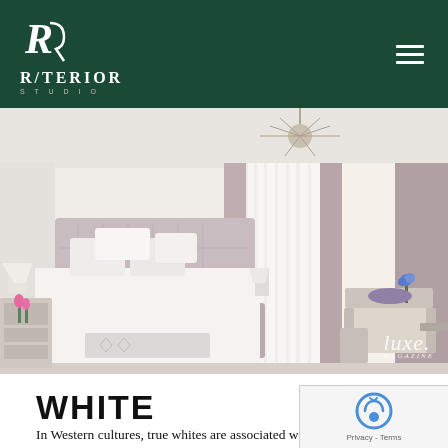R/TERIOR STUDIO
[Figure (photo): Bright, airy luxury bedroom with a tufted upholstered bed in blush/taupe, white bedding, mirrored nightstand with tulips, floor-to-ceiling sheer white and mauve curtains, wicker accent chair, sputnik chandelier, with a 'luxe.' watermark in the lower right corner.]
WHITE
In Western cultures, true whites are associated with goodness, innocence, cleanliness, and perfection... Slightly cooler whites have a calligraphy pen sort